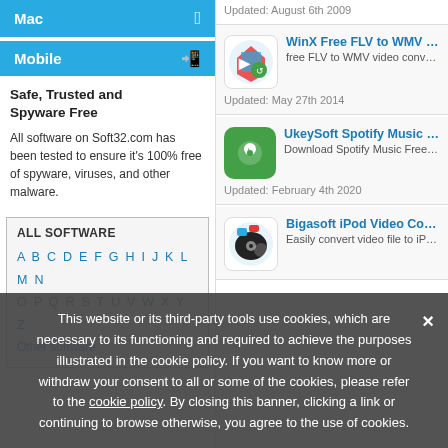Mac
Mobile
Safe, Trusted and Spyware Free
All software on Soft32.com has been tested to ensure it's 100% free of spyware, viruses, and other malware.
ALL SOFTWARE
A B C D E F G H I J K L M N O P Q R S T U V W X Y Z Other software
Updated: August 6th 2009
WinX Free FLV to WMV Video Co...
free FLV to WMV video converter to conv...
Updated: May 27th 2014
UkeySoft Spotify Music Convert...
Download Spotify Music Free and Conve...
Updated: February 4th 2020
Bigasoft iPod Video Converter 3...
Easily convert video file to iPod MP4 and...
This website or its third-party tools use cookies, which are necessary to its functioning and required to achieve the purposes illustrated in the cookie policy. If you want to know more or withdraw your consent to all or some of the cookies, please refer to the cookie policy. By closing this banner, clicking a link or continuing to browse otherwise, you agree to the use of cookies.